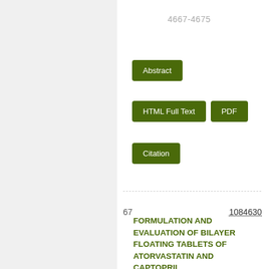4667-4675
Abstract
HTML Full Text
PDF
Citation
67
FORMULATION AND EVALUATION OF BILAYER FLOATING TABLETS OF ATORVASTATIN AND CAPTOPRIL
1084630
The aim of the present research work was to develop a bilayer floating dosage form of immediate-release Atorvastatin (ATR) and sustained release Captopril (CPT) in matrix form for the treatment of hyperlipidaemia and hypertension to reduce